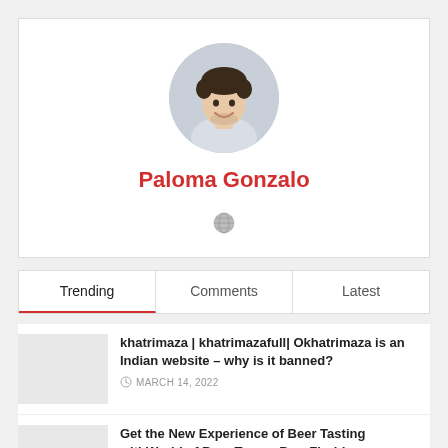[Figure (photo): Circular profile photo of a smiling young man with curly dark hair wearing a light gray shirt]
Paloma Gonzalo
[Figure (illustration): Small globe/world icon in gray]
Trending | Comments | Latest
khatrimaza | khatrimazafull| Okhatrimaza is an Indian website – why is it banned?
MARCH 14, 2022
Get the New Experience of Beer Tasting withWorld of Beer Tampa Bay, Florida